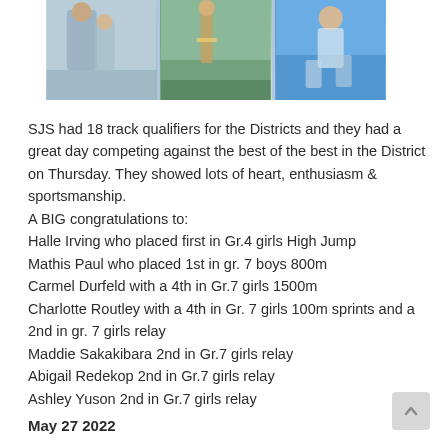[Figure (photo): Three photos of students at a track meet: left shows students chatting, center shows a student at a jump event, right shows a student running on a blue track.]
SJS had 18 track qualifiers for the Districts and they had a great day competing against the best of the best in the District on Thursday. They showed lots of heart, enthusiasm & sportsmanship.
A BIG congratulations to:
Halle Irving who placed first in Gr.4 girls High Jump
Mathis Paul who placed 1st in gr. 7 boys 800m
Carmel Durfeld with a 4th in Gr.7 girls 1500m
Charlotte Routley with a 4th in Gr. 7 girls 100m sprints and a 2nd in gr. 7 girls relay
Maddie Sakakibara 2nd in Gr.7 girls relay
Abigail Redekop 2nd in Gr.7 girls relay
Ashley Yuson 2nd in Gr.7 girls relay
May 27 2022